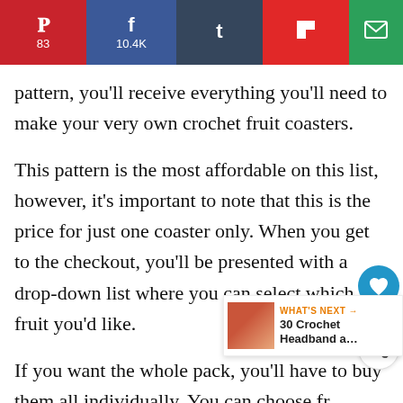Share bar: Pinterest 83, Facebook 10.4K, Tumblr, Flipboard, Email
pattern, you'll receive everything you'll need to make your very own crochet fruit coasters.
This pattern is the most affordable on this list, however, it's important to note that this is the price for just one coaster only. When you get to the checkout, you'll be presented with a drop-down list where you can select which fruit you'd like.
If you want the whole pack, you'll have to buy them all individually. You can choose from Apple, Orange, Green Apple, Watermelon,